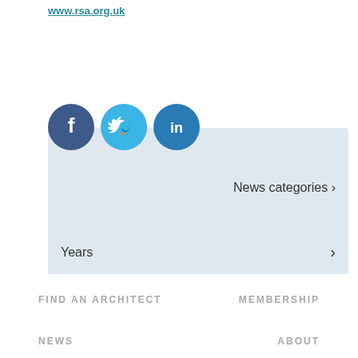www.rsa.org.uk
[Figure (illustration): Social media icons: Facebook (dark blue circle with f), Twitter (light blue circle with bird), LinkedIn (blue circle with in)]
News categories ›
Years ›
FIND AN ARCHITECT
MEMBERSHIP
NEWS
ABOUT